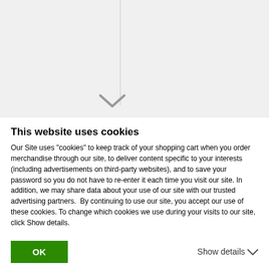[Figure (screenshot): Top portion of a webpage visible behind a cookie consent overlay, showing a two-column layout with a vertical divider and a downward chevron arrow at the bottom center of the left column.]
This website uses cookies
Our Site uses "cookies" to keep track of your shopping cart when you order merchandise through our site, to deliver content specific to your interests (including advertisements on third-party websites), and to save your password so you do not have to re-enter it each time you visit our site. In addition, we may share data about your use of our site with our trusted advertising partners.  By continuing to use our site, you accept our use of these cookies. To change which cookies we use during your visits to our site, click Show details.
OK
Show details